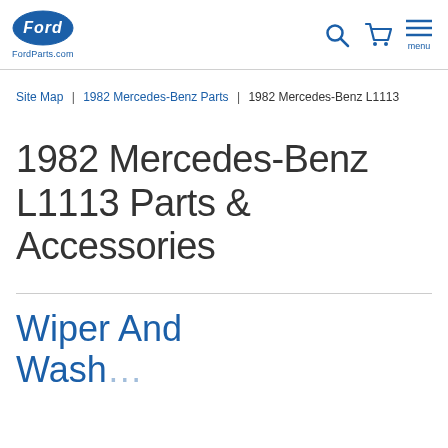FordParts.com
Site Map | 1982 Mercedes-Benz Parts | 1982 Mercedes-Benz L1113
1982 Mercedes-Benz L1113 Parts & Accessories
Wiper And Wash...